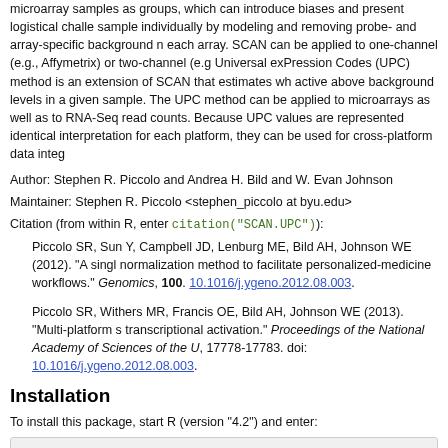microarray samples as groups, which can introduce biases and present logistical challenges. SCAN normalizes each sample individually by modeling and removing probe- and array-specific background noise, independently for each array. SCAN can be applied to one-channel (e.g., Affymetrix) or two-channel (e.g., Agilent) arrays. The Universal exPression Codes (UPC) method is an extension of SCAN that estimates whether each gene is active above background levels in a given sample. The UPC method can be applied to one- or two-channel microarrays as well as to RNA-Seq read counts. Because UPC values are represented on the same scale with identical interpretation for each platform, they can be used for cross-platform data integration.
Author: Stephen R. Piccolo and Andrea H. Bild and W. Evan Johnson
Maintainer: Stephen R. Piccolo <stephen_piccolo at byu.edu>
Citation (from within R, enter citation("SCAN.UPC")):
Piccolo SR, Sun Y, Campbell JD, Lenburg ME, Bild AH, Johnson WE (2012). "A single-sample microarray normalization method to facilitate personalized-medicine workflows." Genomics, 100. doi: 10.1016/j.ygeno.2012.08.003.
Piccolo SR, Withers MR, Francis OE, Bild AH, Johnson WE (2013). "Multi-platform single-sample estimates of transcriptional activation." Proceedings of the National Academy of Sciences of the United States of America, 17778-17783. doi: 10.1016/j.ygeno.2012.08.003.
Installation
To install this package, start R (version "4.2") and enter:
if (!require("BiocManager", quietly = TRUE))
    install.packages("BiocManager")

BiocManager::install("SCAN.UPC")